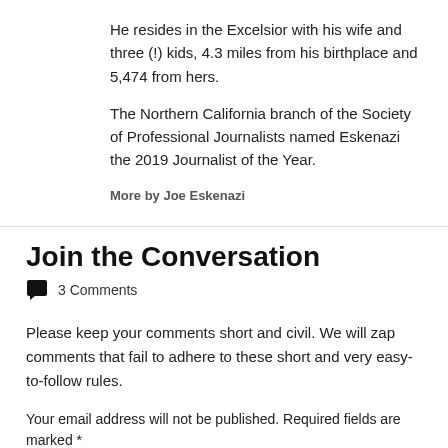He resides in the Excelsior with his wife and three (!) kids, 4.3 miles from his birthplace and 5,474 from hers.
The Northern California branch of the Society of Professional Journalists named Eskenazi the 2019 Journalist of the Year.
More by Joe Eskenazi
Join the Conversation
3 Comments
Please keep your comments short and civil. We will zap comments that fail to adhere to these short and very easy-to-follow rules.
Your email address will not be published. Required fields are marked *